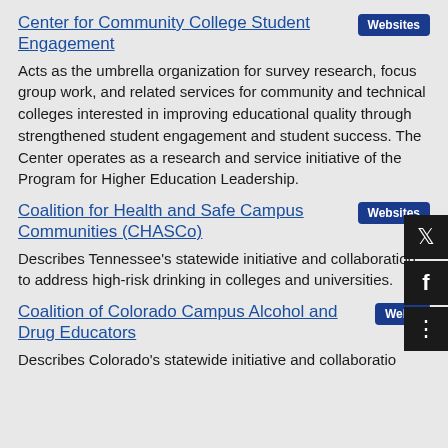Center for Community College Student Engagement
Acts as the umbrella organization for survey research, focus group work, and related services for community and technical colleges interested in improving educational quality through strengthened student engagement and student success. The Center operates as a research and service initiative of the Program for Higher Education Leadership.
Coalition for Health and Safe Campus Communities (CHASCo)
Describes Tennessee's statewide initiative and collaboration to address high-risk drinking in colleges and universities.
Coalition of Colorado Campus Alcohol and Drug Educators
Describes Colorado's statewide initiative and collaboration